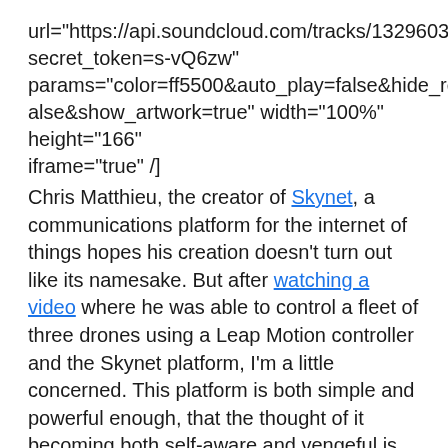url="https://api.soundcloud.com/tracks/132960386?secret_token=s-vQ6zw" params="color=ff5500&auto_play=false&hide_related=false&show_artwork=true" width="100%" height="166" iframe="true" /]
Chris Matthieu, the creator of Skynet, a communications platform for the internet of things hopes his creation doesn't turn out like its namesake. But after watching a video where he was able to control a fleet of three drones using a Leap Motion controller and the Skynet platform, I'm a little concerned. This platform is both simple and powerful enough, that the thought of it becoming both self-aware and vengeful is only sort of crazy.
Matthieu's open source project aims to let disparate devices communicate via a variety of protocols including MQTT and WebSockets, it also can support Node.js or Javascript environments. Eventually non-programmers